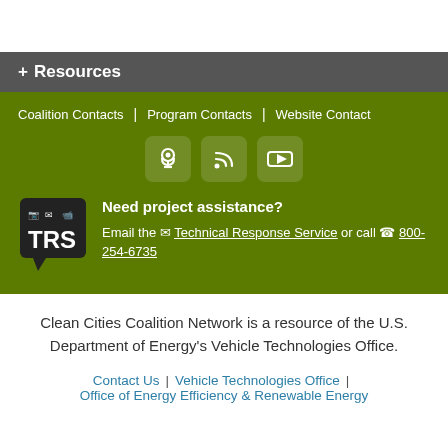+ Resources
Coalition Contacts | Program Contacts | Website Contact
[Figure (illustration): Three social media icons: podcast microphone, RSS feed, and YouTube logo]
[Figure (logo): TRS (Technical Response Service) logo - black speech bubble with icons and TRS text]
Need project assistance? Email the Technical Response Service or call 800-254-6735
Clean Cities Coalition Network is a resource of the U.S. Department of Energy’s Vehicle Technologies Office.
Contact Us | Vehicle Technologies Office | Office of Energy Efficiency & Renewable Energy